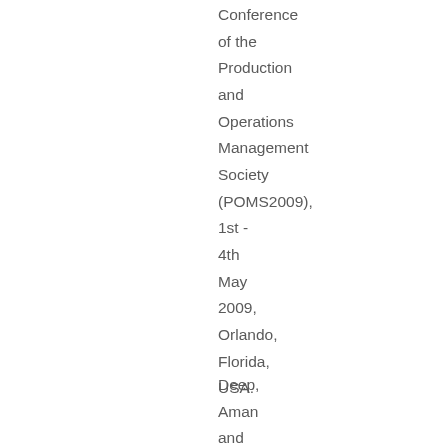Conference of the Production and Operations Management Society (POMS2009), 1st - 4th May 2009, Orlando, Florida, USA.
Deep, Aman and Dani, Samir (2009)